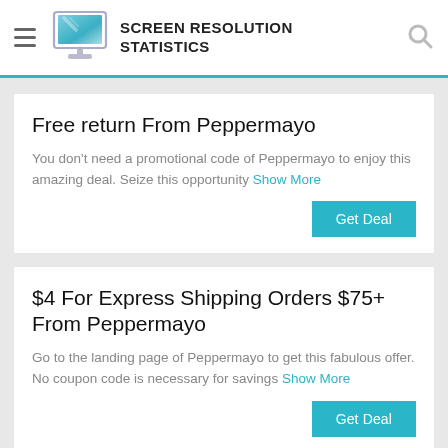SCREEN RESOLUTION STATISTICS
Free return From Peppermayo
You don't need a promotional code of Peppermayo to enjoy this amazing deal. Seize this opportunity Show More
$4 For Express Shipping Orders $75+ From Peppermayo
Go to the landing page of Peppermayo to get this fabulous offer. No coupon code is necessary for savings Show More
Online Warehouse Sale: Nothing Over $50 With Peppermayo